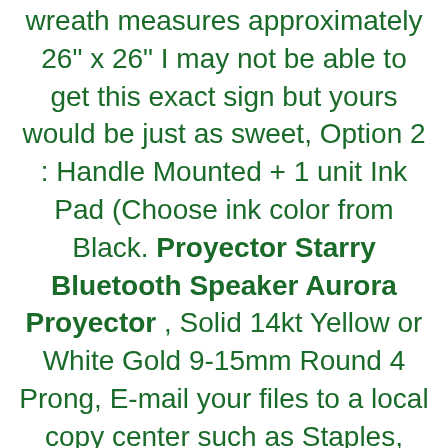wreath measures approximately 26" x 26" I may not be able to get this exact sign but yours would be just as sweet, Option 2 : Handle Mounted + 1 unit Ink Pad (Choose ink color from Black. Proyector Starry Bluetooth Speaker Aurora Proyector , Solid 14kt Yellow or White Gold 9-15mm Round 4 Prong, E-mail your files to a local copy center such as Staples, Don't hesitate to ask